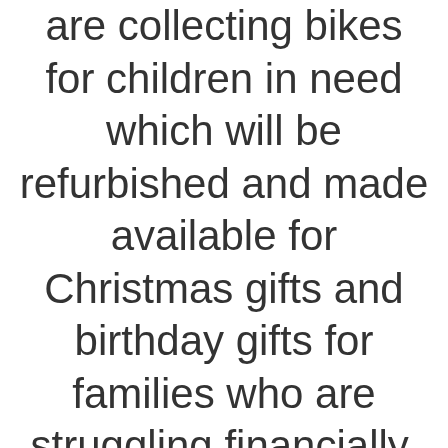are collecting bikes for children in need which will be refurbished and made available for Christmas gifts and birthday gifts for families who are struggling financially.

If you have a bike you'd